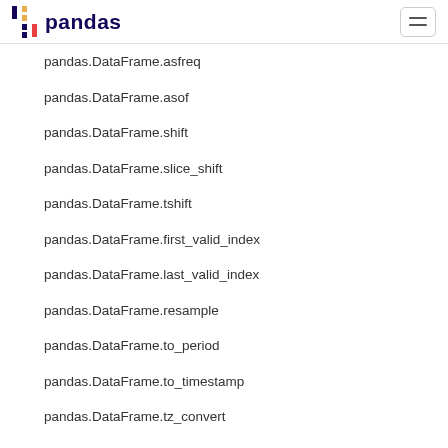pandas
pandas.DataFrame.asfreq
pandas.DataFrame.asof
pandas.DataFrame.shift
pandas.DataFrame.slice_shift
pandas.DataFrame.tshift
pandas.DataFrame.first_valid_index
pandas.DataFrame.last_valid_index
pandas.DataFrame.resample
pandas.DataFrame.to_period
pandas.DataFrame.to_timestamp
pandas.DataFrame.tz_convert
pandas.DataFrame.tz_localize
pandas.Flags